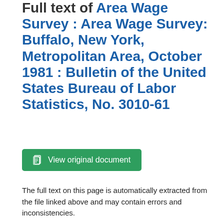Full text of Area Wage Survey : Area Wage Survey: Buffalo, New York, Metropolitan Area, October 1981 : Bulletin of the United States Bureau of Labor Statistics, No. 3010-61
View original document
The full text on this page is automatically extracted from the file linked above and may contain errors and inconsistencies.